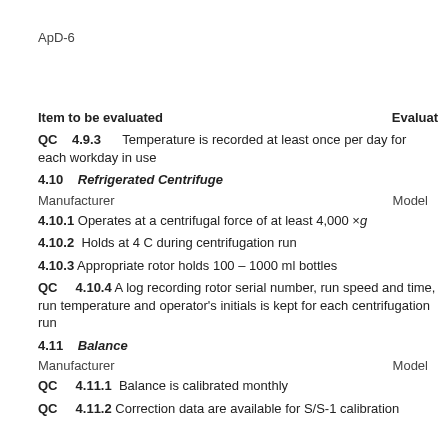ApD-6
Item to be evaluated    Evaluat
QC  4.9.3  Temperature is recorded at least once per day for each workday in use
4.10  Refrigerated Centrifuge
Manufacturer    Model
4.10.1  Operates at a centrifugal force of at least 4,000 ×g
4.10.2  Holds at 4 C during centrifugation run
4.10.3  Appropriate rotor holds 100 – 1000 ml bottles
QC  4.10.4  A log recording rotor serial number, run speed and time, run temperature and operator's initials is kept for each centrifugation run
4.11  Balance
Manufacturer    Model
QC  4.11.1  Balance is calibrated monthly
QC  4.11.2  Correction data are available for S/S-1 calibration